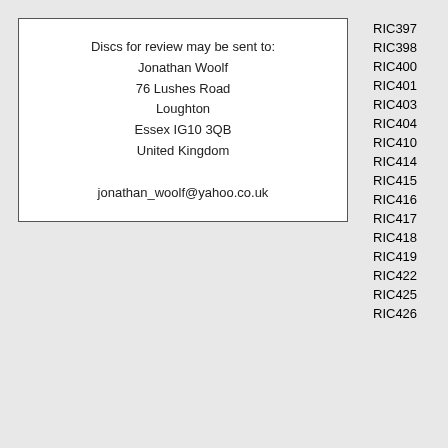Discs for review may be sent to:
Jonathan Woolf
76 Lushes Road
Loughton
Essex IG10 3QB
United Kingdom

jonathan_woolf@yahoo.co.uk
|  |  |
| --- | --- |
| RIC397 | Telemann |
| RIC398 | Chedeville |
| RIC400 | Praetorius |
| RIC401 | Bach fami |
| RIC403 | Josquin ch |
| RIC404 | Four violin |
| RIC410 | Cor Europ |
| RIC414 | Tartini VCs |
| RIC415 | Nun danke |
| RIC416 | Devienne |
| RIC417 | Beethoven |
| RIC418 | Hammerso |
| RIC419 | Cavalieri i |
| RIC422 | Scarlattis s |
| RIC425 | Dowland A |
| RIC426 | Goldberg s |
|  |  |